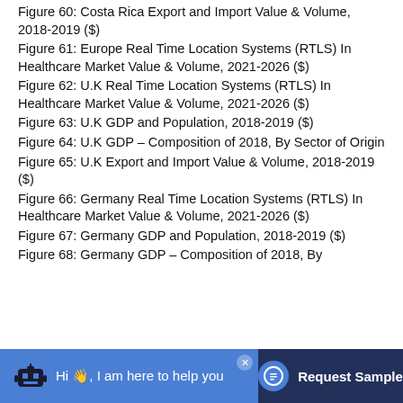Figure 60: Costa Rica Export and Import Value & Volume, 2018-2019 ($)
Figure 61: Europe Real Time Location Systems (RTLS) In Healthcare Market Value & Volume, 2021-2026 ($)
Figure 62: U.K Real Time Location Systems (RTLS) In Healthcare Market Value & Volume, 2021-2026 ($)
Figure 63: U.K GDP and Population, 2018-2019 ($)
Figure 64: U.K GDP – Composition of 2018, By Sector of Origin
Figure 65: U.K Export and Import Value & Volume, 2018-2019 ($)
Figure 66: Germany Real Time Location Systems (RTLS) In Healthcare Market Value & Volume, 2021-2026 ($)
Figure 67: Germany GDP and Population, 2018-2019 ($)
Figure 68: Germany GDP – Composition of 2018, By